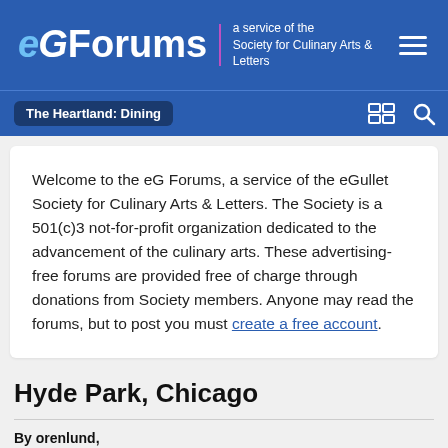eGForums — a service of the Society for Culinary Arts & Letters
The Heartland: Dining
Welcome to the eG Forums, a service of the eGullet Society for Culinary Arts & Letters. The Society is a 501(c)3 not-for-profit organization dedicated to the advancement of the culinary arts. These advertising-free forums are provided free of charge through donations from Society members. Anyone may read the forums, but to post you must create a free account.
Hyde Park, Chicago
By orenlund,
April 12, 2007 in The Heartland: Dining